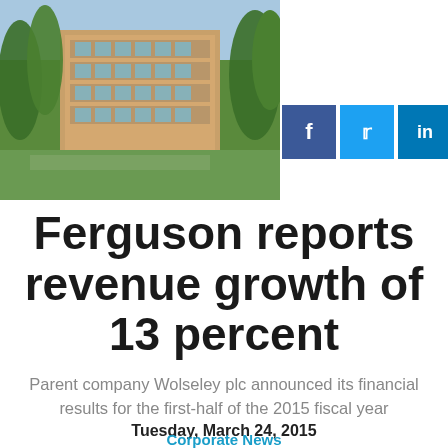[Figure (photo): Aerial/exterior photo of a corporate office building surrounded by green trees, sunny day, with a brick facade and glass windows. Social media share buttons (Facebook, Twitter, LinkedIn, Pinterest) overlaid on the right side.]
Ferguson reports revenue growth of 13 percent
Parent company Wolseley plc announced its financial results for the first-half of the 2015 fiscal year
Tuesday, March 24, 2015
Corporate News